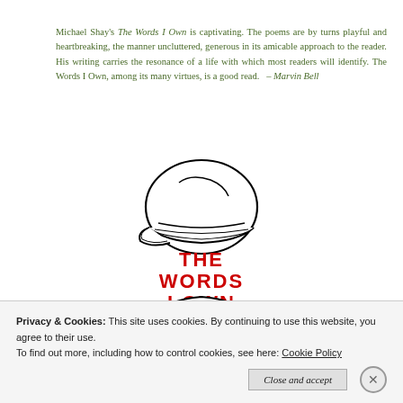Michael Shay's The Words I Own is captivating. The poems are by turns playful and heartbreaking, the manner uncluttered, generous in its amicable approach to the reader. His writing carries the resonance of a life with which most readers will identify. The Words I Own, among its many virtues, is a good read.  – Marvin Bell
[Figure (illustration): Book cover illustration showing a figure in a cap, with bold red text reading THE WORDS I OWN in the center]
Privacy & Cookies: This site uses cookies. By continuing to use this website, you agree to their use.
To find out more, including how to control cookies, see here: Cookie Policy